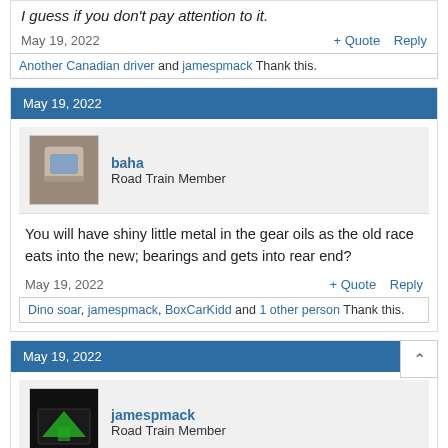I guess if you don't pay attention to it.
May 19, 2022
+ Quote  Reply
Another Canadian driver and jamespmack Thank this.
May 19, 2022
baha
Road Train Member
You will have shiny little metal in the gear oils as the old race eats into the new; bearings and gets into rear end?
May 19, 2022
+ Quote  Reply
Dino soar, jamespmack, BoxCarKidd and 1 other person Thank this.
May 19, 2022
jamespmack
Road Train Member